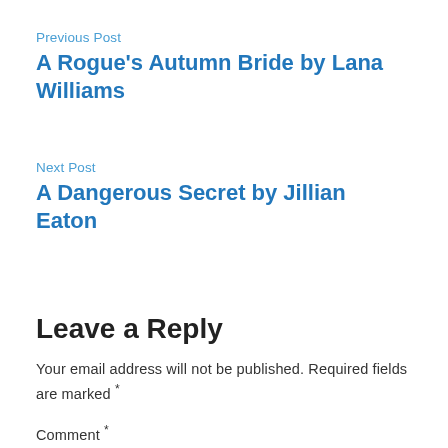Previous Post
A Rogue's Autumn Bride by Lana Williams
Next Post
A Dangerous Secret by Jillian Eaton
Leave a Reply
Your email address will not be published. Required fields are marked *
Comment *